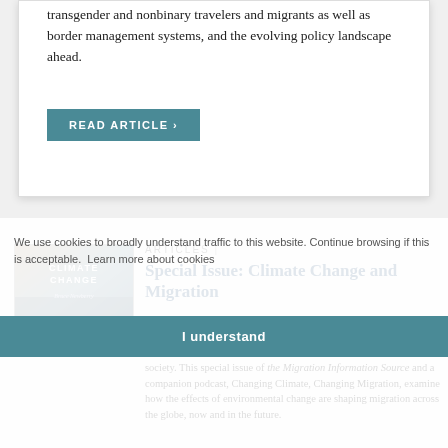transgender and nonbinary travelers and migrants as well as border management systems, and the evolving policy landscape ahead.
READ ARTICLE >
[Figure (illustration): Book/article thumbnail image with text 'CLIMATE CHANGE' overlaid on a muted blue-beige landscape background]
ARTICLES |
Special Issue: Climate Change and Migration
Climate change promises to profoundly impact all aspects of human society. This special issue of the Migration Information Source and a companion podcast, Changing Climate, Changing Migration, examine how the effects of environmental change are shaping migration across the globe, now and in the future.
We use cookies to broadly understand traffic to this website. Continue browsing if this is acceptable.  Learn more about cookies
I understand